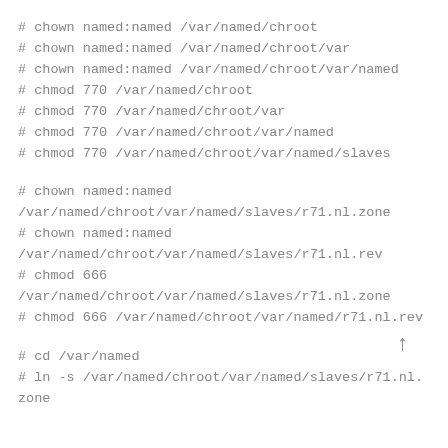# chown named:named /var/named/chroot
# chown named:named /var/named/chroot/var
# chown named:named /var/named/chroot/var/named
# chmod 770 /var/named/chroot
# chmod 770 /var/named/chroot/var
# chmod 770 /var/named/chroot/var/named
# chmod 770 /var/named/chroot/var/named/slaves
# chown named:named
/var/named/chroot/var/named/slaves/r71.nl.zone
# chown named:named
/var/named/chroot/var/named/slaves/r71.nl.rev
# chmod 666
/var/named/chroot/var/named/slaves/r71.nl.zone
# chmod 666 /var/named/chroot/var/named/r71.nl.rev
# cd /var/named
# ln -s /var/named/chroot/var/named/slaves/r71.nl.zone